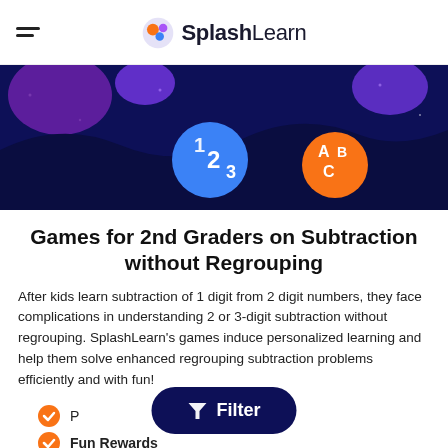SplashLearn
[Figure (illustration): Dark navy background decorative hero banner with colorful blobs (purple, blue, pink), stars, and two circular icons: one blue with '123' and one orange with 'ABC']
Games for 2nd Graders on Subtraction without Regrouping
After kids learn subtraction of 1 digit from 2 digit numbers, they face complications in understanding 2 or 3-digit subtraction without regrouping. SplashLearn's games induce personalized learning and help them solve enhanced regrouping subtraction problems efficiently and with fun!
[Figure (screenshot): Dark navy rounded filter button with funnel icon and text 'Filter']
Personalized Learning
Fun Rewards